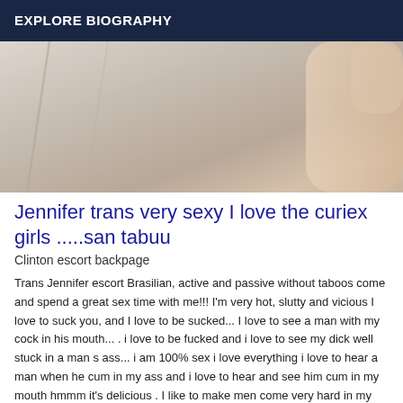EXPLORE BIOGRAPHY
[Figure (photo): Close-up photo with beige/tan background, appears to show a surface or skin texture]
Jennifer trans very sexy I love the curiex girls .....san tabuu
Clinton escort backpage
Trans Jennifer escort Brasilian, active and passive without taboos come and spend a great sex time with me!!! I'm very hot, slutty and vicious I love to suck you, and I love to be sucked... I love to see a man with my cock in his mouth... . i love to be fucked and i love to see my dick well stuck in a man s ass... i am 100% sex i love everything i love to hear a man when he cum in my ass and i love to hear and see him cum in my mouth hmmm it's delicious . I like to make men come very hard in my